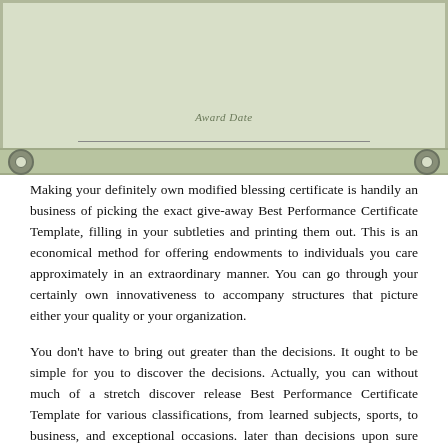[Figure (illustration): Top portion of a certificate template with sage/olive green background, showing 'Award Date' label, a horizontal signature line, and 'Presenter Name and Title' text. The bottom bar has corner circle ornaments.]
Making your definitely own modified blessing certificate is handily an business of picking the exact give-away Best Performance Certificate Template, filling in your subtleties and printing them out. This is an economical method for offering endowments to individuals you care approximately in an extraordinary manner. You can go through your certainly own innovativeness to accompany structures that picture either your quality or your organization.
You don't have to bring out greater than the decisions. It ought to be simple for you to discover the decisions. Actually, you can without much of a stretch discover release Best Performance Certificate Template for various classifications, from learned subjects, sports, to business, and exceptional occasions. later than decisions upon sure certificate template, you can discover the scheme that is take possession of to your course or occasion. Regardless of whether it's for intellectual course, sports game, or event accomplishment, you just compulsion to